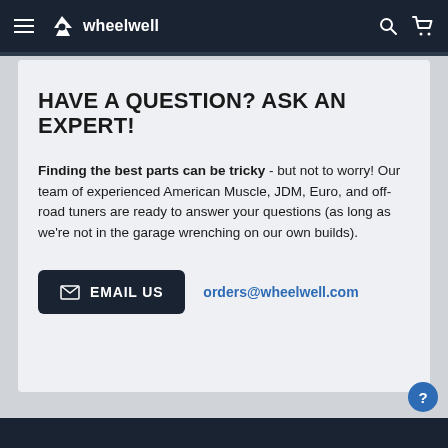wheelwell
HAVE A QUESTION? ASK AN EXPERT!
Finding the best parts can be tricky - but not to worry! Our team of experienced American Muscle, JDM, Euro, and off-road tuners are ready to answer your questions (as long as we're not in the garage wrenching on our own builds).
EMAIL US   orders@wheelwell.com